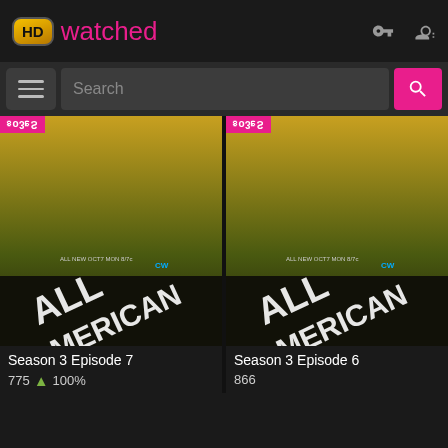[Figure (screenshot): HDwatched website header with HD logo in gold/black box and 'watched' in pink text, plus key and user icons on the right]
[Figure (screenshot): Search bar with hamburger menu button on left, search input field with placeholder 'Search', and pink search button on right]
[Figure (screenshot): All American Season 3 Episode 7 TV show poster thumbnail with red badge label 'Season7' in upside-down text]
Season 3 Episode 7
775  100%
[Figure (screenshot): All American Season 3 Episode 6 TV show poster thumbnail with red badge label 'Season6' in upside-down text]
Season 3 Episode 6
866